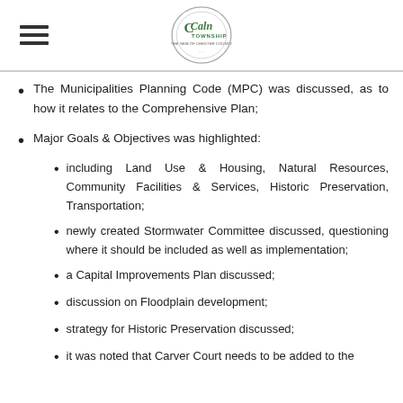Caln Township
The Municipalities Planning Code (MPC) was discussed, as to how it relates to the Comprehensive Plan;
Major Goals & Objectives was highlighted:
including Land Use & Housing, Natural Resources, Community Facilities & Services, Historic Preservation, Transportation;
newly created Stormwater Committee discussed, questioning where it should be included as well as implementation;
a Capital Improvements Plan discussed;
discussion on Floodplain development;
strategy for Historic Preservation discussed;
it was noted that Carver Court needs to be added to the